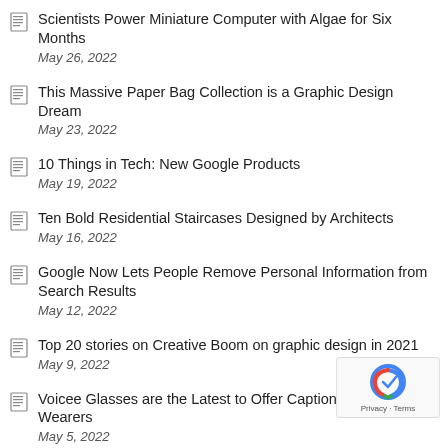Scientists Power Miniature Computer with Algae for Six Months
May 26, 2022
This Massive Paper Bag Collection is a Graphic Design Dream
May 23, 2022
10 Things in Tech: New Google Products
May 19, 2022
Ten Bold Residential Staircases Designed by Architects
May 16, 2022
Google Now Lets People Remove Personal Information from Search Results
May 12, 2022
Top 20 stories on Creative Boom on graphic design in 2021
May 9, 2022
Voicee Glasses are the Latest to Offer Captioning for Deaf Wearers
May 5, 2022